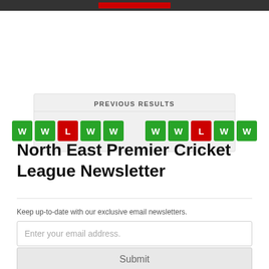PREVIOUS RESULTS
[Figure (infographic): Two groups of result badges showing W W L W W and W W L W W in green/red squares]
North East Premier Cricket League Newsletter
Keep up-to-date with our exclusive email newsletters.
Enter your email address.
Submit